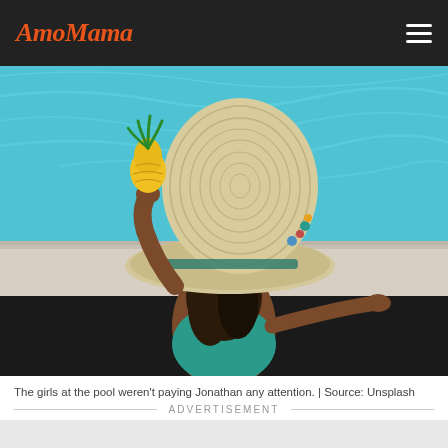AmoMama
[Figure (photo): Woman seen from above sitting at the edge of a swimming pool with turquoise water, wearing a wide-brim straw hat and teal swimsuit, holding a yellow fruit (pineapple) in her raised hand.]
The girls at the pool weren't paying Jonathan any attention. | Source: Unsplash
ADVERTISEMENT